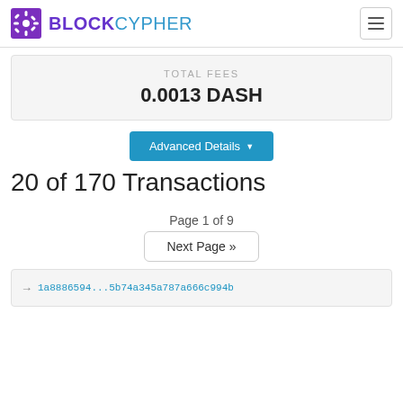BLOCKCYPHER
TOTAL FEES
0.0013 DASH
Advanced Details
20 of 170 Transactions
Page 1 of 9
Next Page »
1a8886594...5b74a345a787a666c994bb16a3381...